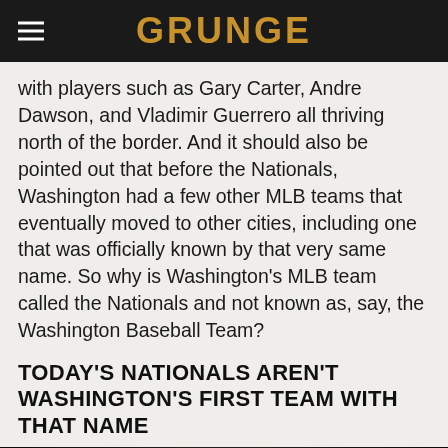GRUNGE
with players such as Gary Carter, Andre Dawson, and Vladimir Guerrero all thriving north of the border. And it should also be pointed out that before the Nationals, Washington had a few other MLB teams that eventually moved to other cities, including one that was officially known by that very same name. So why is Washington's MLB team called the Nationals and not known as, say, the Washington Baseball Team?
TODAY'S NATIONALS AREN'T WASHINGTON'S FIRST TEAM WITH THAT NAME
[Figure (photo): Black and white vintage photo of a baseball player wearing a cap, visible from the head/shoulders up, dark background]